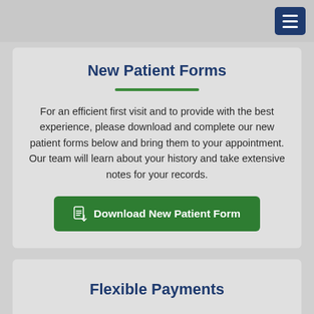[Figure (other): Navigation menu hamburger button (dark navy blue square with three horizontal white lines) in top-right corner]
New Patient Forms
For an efficient first visit and to provide with the best experience, please download and complete our new patient forms below and bring them to your appointment. Our team will learn about your history and take extensive notes for your records.
[Figure (other): Download New Patient Form button (green rectangle with document/download icon and bold white text)]
Flexible Payments